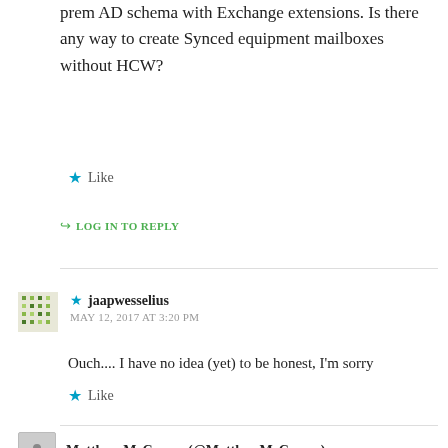prem AD schema with Exchange extensions. Is there any way to create Synced equipment mailboxes without HCW?
★ Like
↪ LOG IN TO REPLY
★ jaapwesselius
MAY 12, 2017 AT 3:20 PM
Ouch.... I have no idea (yet) to be honest, I'm sorry
★ Like
↪ LOG IN TO REPLY
Matthew McCuzem (@MatthewMcCuzem)